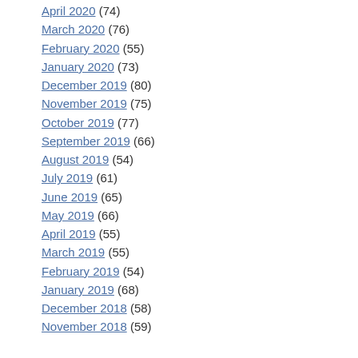April 2020 (74)
March 2020 (76)
February 2020 (55)
January 2020 (73)
December 2019 (80)
November 2019 (75)
October 2019 (77)
September 2019 (66)
August 2019 (54)
July 2019 (61)
June 2019 (65)
May 2019 (66)
April 2019 (55)
March 2019 (55)
February 2019 (54)
January 2019 (68)
December 2018 (58)
November 2018 (59)